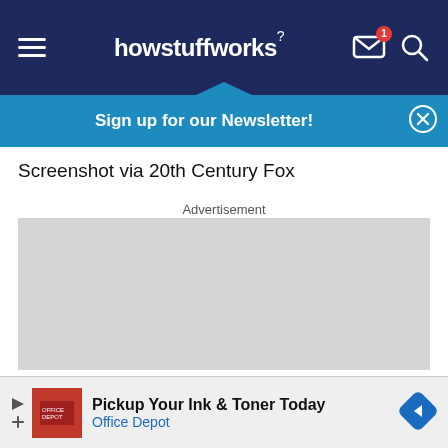howstuffworks
Sign up for our Newsletter!
Screenshot via 20th Century Fox
Advertisement
[Figure (other): Grey advertisement placeholder box]
[Figure (other): Bottom banner ad: Pickup Your Ink & Toner Today — Office Depot]